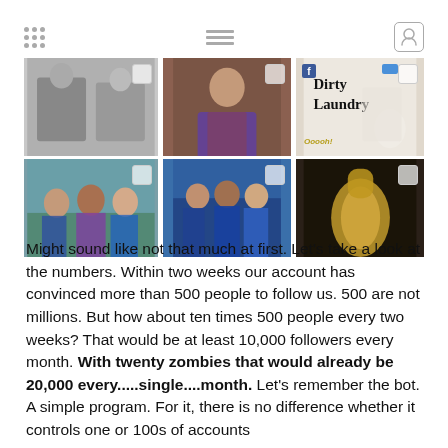[Figure (screenshot): Instagram-style grid interface showing top navigation with dots icon, list icon, and user profile icon, followed by two rows of three photo thumbnails each. Top row: black and white photo of two men sitting, portrait of a woman in patterned dress, 'Dirty Laundry' text image. Bottom row: group photo outdoors, group on news set, gold champagne bottle closeup.]
Might sound like not that much at first. Let's take a look at the numbers. Within two weeks our account has convinced more than 500 people to follow us. 500 are not millions. But how about ten times 500 people every two weeks? That would be at least 10,000 followers every month. With twenty zombies that would already be 20,000 every.....single....month. Let's remember the bot. A simple program. For it, there is no difference whether it controls one or 100s of accounts